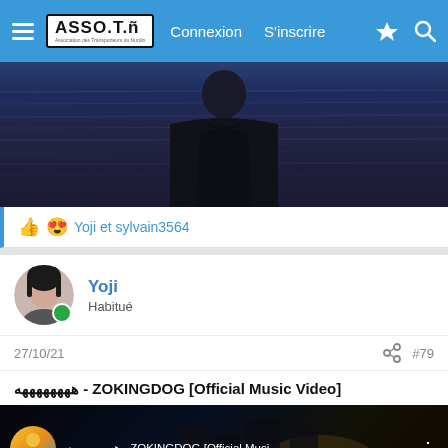ASSO.T.N — Connexion  S'inscrire
[Figure (photo): Hero image showing a person from behind standing in or near dark blue water with ripple effects]
👍 😍 Yoji et sylvain3564
Yoji
Habitué
27/10/21	#79
ههههههههه - ZOKINGDOG [Official Music Video]
[Figure (screenshot): YouTube video embed thumbnail showing: ههههههههه - ZOKINGDOG [Official Musi... with channel icon and street scene background]